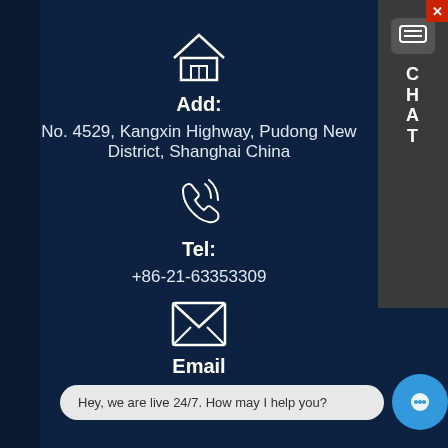[Figure (illustration): House/home icon SVG outline in white]
Add:
No. 4529, Kangxin Highway, Pudong New District, Shanghai China
[Figure (illustration): Phone/call icon SVG outline in white with signal waves]
Tel:
+86-21-63353309
[Figure (illustration): Envelope/email icon SVG outline in white]
Email
sa...
[Figure (screenshot): Chat sidebar with CHAT label and close button]
Hey, we are live 24/7. How may I help you?